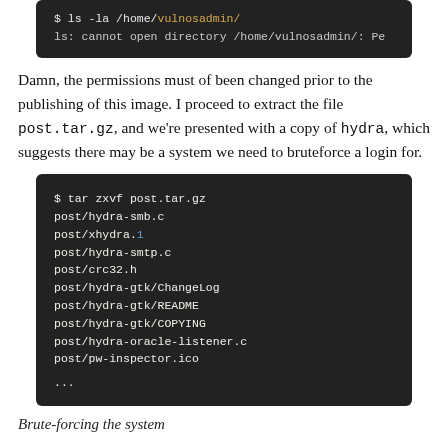[Figure (screenshot): Terminal screenshot showing: $ ls -la /home/vulnosadmin/ and ls: cannot open directory /home/vulnosadmin/: Pe]
Damn, the permissions must of been changed prior to the publishing of this image. I proceed to extract the file post.tar.gz, and we're presented with a copy of hydra, which suggests there may be a system we need to bruteforce a login for.
[Figure (screenshot): Terminal screenshot showing tar extraction output: $ tar zxvf post.tar.gz followed by post/hydra-smb.c, post/xhydra.1, post/hydra-smtp.c, post/crc32.h, post/hydra-gtk/ChangeLog, post/hydra-gtk/README, post/hydra-gtk/COPYING, post/hydra-oracle-listener.c, post/pw-inspector.ico, ...]
Brute-forcing the system